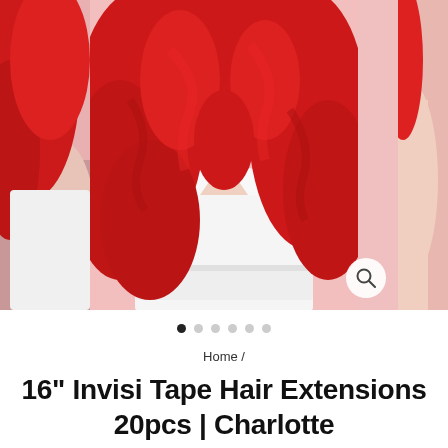[Figure (photo): Product gallery showing a woman with vibrant red wavy hair extensions wearing a white top against a pink background. Three panel layout: partial left panel, large center panel, partial right panel. A magnify/zoom icon button is visible at the bottom right of the center image.]
• (navigation dots: 1 active, 5 inactive)
Home /
16" Invisi Tape Hair Extensions 20pcs | Charlotte